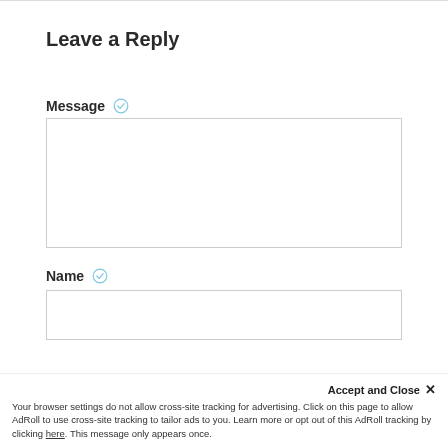Leave a Reply
Message
[Figure (other): Empty message text area input box]
Name
[Figure (other): Empty name text input box]
Accept and Close ✕
Your browser settings do not allow cross-site tracking for advertising. Click on this page to allow AdRoll to use cross-site tracking to tailor ads to you. Learn more or opt out of this AdRoll tracking by clicking here. This message only appears once.